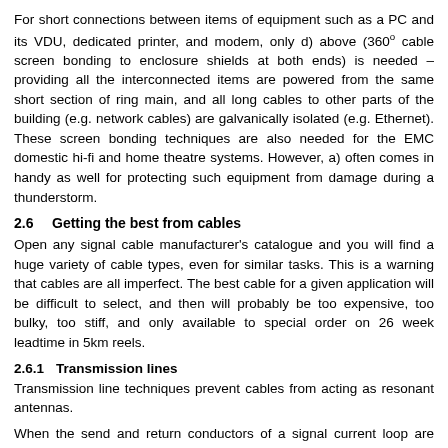For short connections between items of equipment such as a PC and its VDU, dedicated printer, and modem, only d) above (360° cable screen bonding to enclosure shields at both ends) is needed – providing all the interconnected items are powered from the same short section of ring main, and all long cables to other parts of the building (e.g. network cables) are galvanically isolated (e.g. Ethernet). These screen bonding techniques are also needed for the EMC domestic hi-fi and home theatre systems. However, a) often comes in handy as well for protecting such equipment from damage during a thunderstorm.
2.6   Getting the best from cables
Open any signal cable manufacturer's catalogue and you will find a huge variety of cable types, even for similar tasks. This is a warning that cables are all imperfect. The best cable for a given application will be difficult to select, and then will probably be too expensive, too bulky, too stiff, and only available to special order on 26 week leadtime in 5km reels.
2.6.1   Transmission lines
Transmission line techniques prevent cables from acting as resonant antennas.
When the send and return conductors of a signal current loop are physically close together and so enjoy strong mutual coupling, the combination of their mutual capacitance and inductance results in
a characteristic impedance Z = √(L/C)  where L and C are the